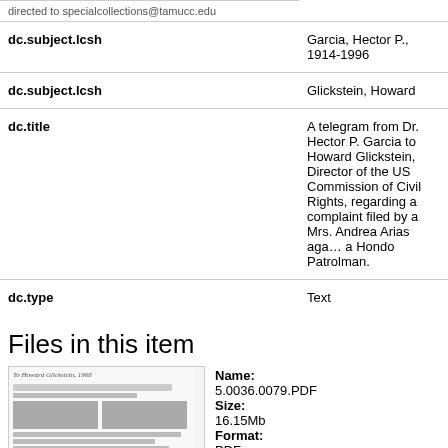| Field | Value |
| --- | --- |
| dc.subject.lcsh | Garcia, Hector P., 1914-1996 |
| dc.subject.lcsh | Glickstein, Howard |
| dc.title | A telegram from Dr. Hector P. Garcia to Howard Glickstein, Director of the US Commission of Civil Rights, regarding a complaint filed by a Mrs. Andrea Arias against a Hondo Patrolman. |
| dc.type | Text |
Files in this item
[Figure (photo): Thumbnail image of a scanned telegram document, showing handwritten and typed text.]
Name:
5.0036.0079.PDF
Size:
16.15Mb
Format:
PDF